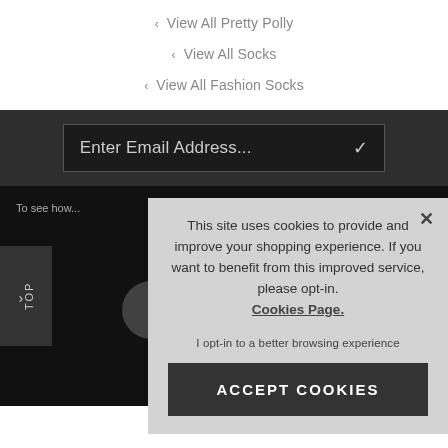‹ View All Pretty Polly
‹ View All Socks
‹ View All Fashion Socks
Enter Email Address...
To see how...
This site uses cookies to provide and improve your shopping experience. If you want to benefit from this improved service, please opt-in. Cookies Page.
I opt-in to a better browsing experience
ACCEPT COOKIES